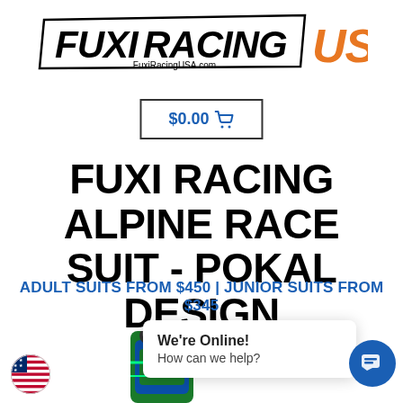[Figure (logo): Fuxi Racing USA logo with black italic text 'FUXI RACING' and orange bold 'USA', with FuxiRacingUSA.com subtitle]
$0.00 🛒
FUXI RACING ALPINE RACE SUIT - POKAL DESIGN
ADULT SUITS FROM $450 | JUNIOR SUITS FROM $345
[Figure (photo): Partial view of a race suit product at bottom of page, with US flag icon bottom left, chat popup 'We're Online! How can we help?' and blue chat button bottom right]